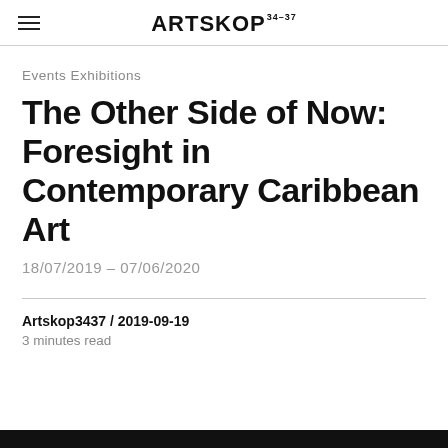ARTSKOP 34-37
Events Exhibitions
The Other Side of Now: Foresight in Contemporary Caribbean Art
18/07/2019 - 07/06/2020
Artskop3437 / 2019-09-19
3 minutes read